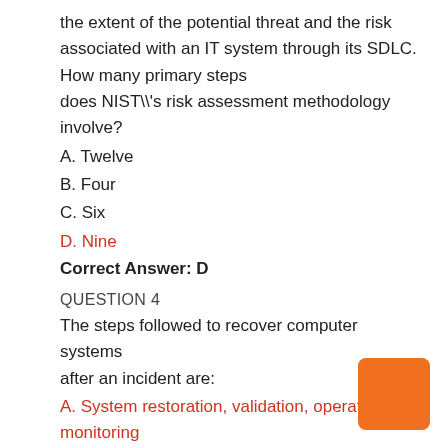the extent of the potential threat and the risk associated with an IT system through its SDLC. How many primary steps does NIST\'s risk assessment methodology involve?
A. Twelve
B. Four
C. Six
D. Nine
Correct Answer: D
QUESTION 4
The steps followed to recover computer systems after an incident are:
A. System restoration, validation, operation and monitoring
B. System restoration, operation, validation, and monitoring